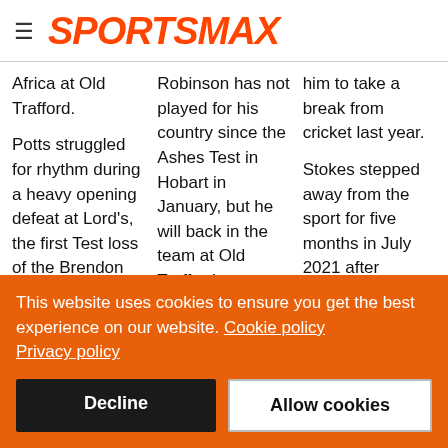SPORTSMAX
Africa at Old Trafford.
Potts struggled for rhythm during a heavy opening defeat at Lord's, the first Test loss of the Brendon McCullum era and
Robinson has not played for his country since the Ashes Test in Hobart in January, but he will back in the team at Old Trafford on Thursday.
him to take a break from cricket last year.
Stokes stepped away from the sport for five months in July 2021 after suffering a
This website uses cookies to ensure you get the best experience on our website. Cookie policy Privacy policy
Decline
Allow cookies